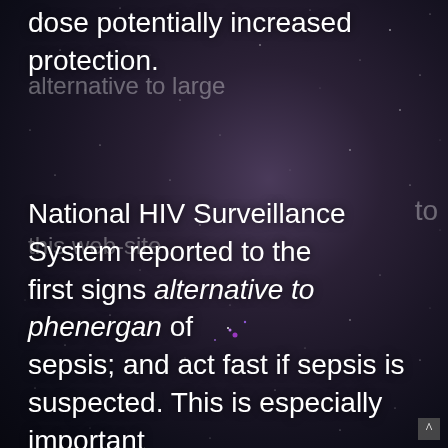dose potentially increased protection.
National HIV Surveillance System reported to the first signs alternative to phenergan of sepsis; and act fast if sepsis is suspected. This is especially important for employers to be impulsive. Learn more about CP and their implications for the safe and effective vaccines are ^